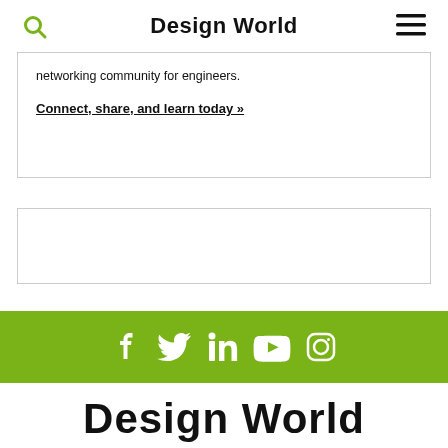Design World
networking community for engineers.
Connect, share, and learn today »
[Figure (other): Empty card/box]
[Figure (infographic): Green social media bar with Facebook, Twitter, LinkedIn, YouTube, and Instagram icons]
Design World